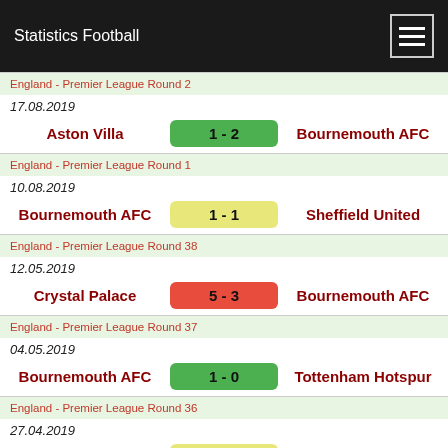Statistics Football
England - Premier League Round 2
17.08.2019
Aston Villa 1 - 2 Bournemouth AFC
England - Premier League Round 1
10.08.2019
Bournemouth AFC 1 - 1 Sheffield United
England - Premier League Round 38
12.05.2019
Crystal Palace 5 - 3 Bournemouth AFC
England - Premier League Round 37
04.05.2019
Bournemouth AFC 1 - 0 Tottenham Hotspur
England - Premier League Round 36
27.04.2019
Southampton FC 3 - 3 Bournemouth AFC
England - Premier League Round 35
20.04.2019
Bournemouth AFC 0 - 1 Fulham FC